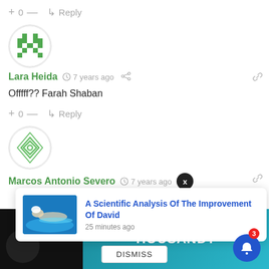+ 0 — Reply
[Figure (illustration): Green pixelated avatar icon for user Lara Heida]
Lara Heida  7 years ago
Offfff?? Farah Shaban
+ 0 — Reply
[Figure (illustration): Green diamond-pattern avatar icon for user Marcos Antonio Severo]
Marcos Antonio Severo  7 years ago
[Figure (screenshot): Notification popup: A Scientific Analysis Of The Improvement Of David, 25 minutes ago, with swimming photo thumbnail]
DISMISS
HOUSAND?